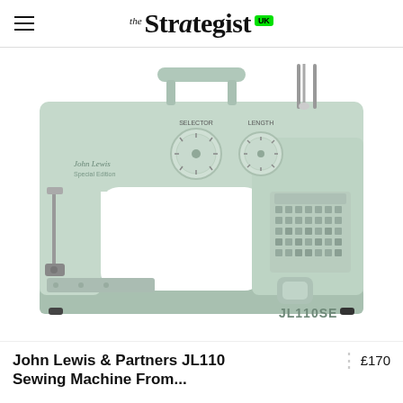the Strategist UK
[Figure (photo): John Lewis & Partners JL110SE Special Edition sewing machine in mint/sage green color, shown at a slight angle. The machine features two dial controls labeled SELECTOR and LENGTH on top, a carry handle, needle assembly on the left, stitch pattern display panel on the right side, and the model number JL110SE printed on the lower right of the machine body.]
John Lewis & Partners JL110 Sewing Machine From...
£170